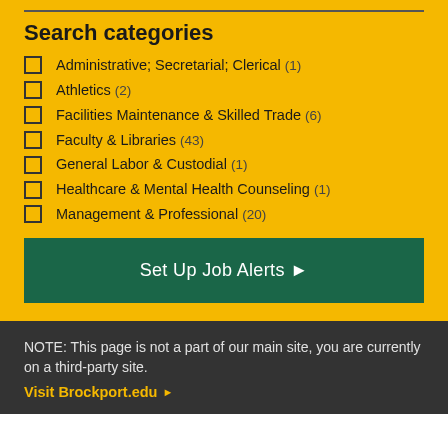Search categories
Administrative; Secretarial; Clerical (1)
Athletics (2)
Facilities Maintenance & Skilled Trade (6)
Faculty & Libraries (43)
General Labor & Custodial (1)
Healthcare & Mental Health Counseling (1)
Management & Professional (20)
Set Up Job Alerts ▶
NOTE: This page is not a part of our main site, you are currently on a third-party site.
Visit Brockport.edu ▶